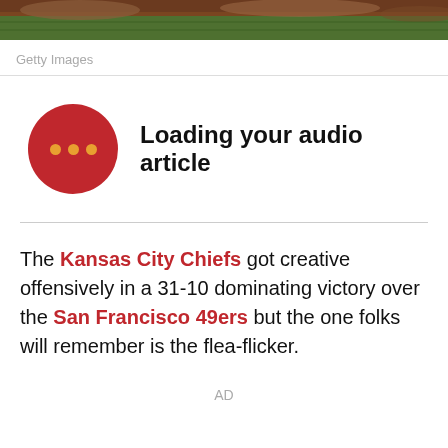[Figure (photo): Sports field photo used as image banner at top of page]
Getty Images
[Figure (infographic): Red circular audio player button with three orange dots, indicating a loading audio article player]
Loading your audio article
The Kansas City Chiefs got creative offensively in a 31-10 dominating victory over the San Francisco 49ers but the one folks will remember is the flea-flicker.
AD